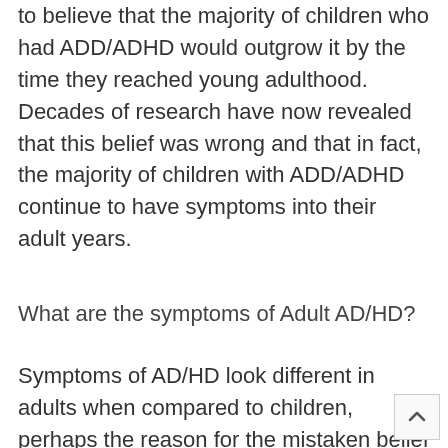to believe that the majority of children who had ADD/ADHD would outgrow it by the time they reached young adulthood. Decades of research have now revealed that this belief was wrong and that in fact, the majority of children with ADD/ADHD continue to have symptoms into their adult years.
What are the symptoms of Adult AD/HD?
Symptoms of AD/HD look different in adults when compared to children, perhaps the reason for the mistaken belief that everyone